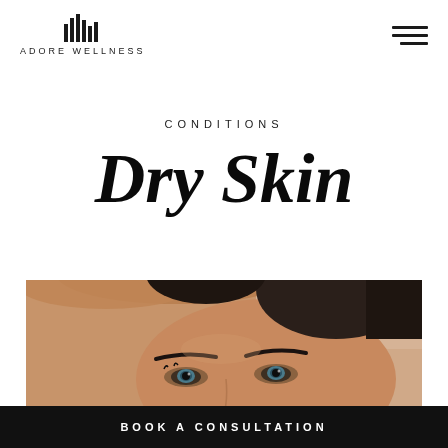ADORE WELLNESS
CONDITIONS
Dry Skin
[Figure (photo): Close-up portrait of a woman with dark hair, arm raised over head, looking directly at camera with natural light background]
BOOK A CONSULTATION